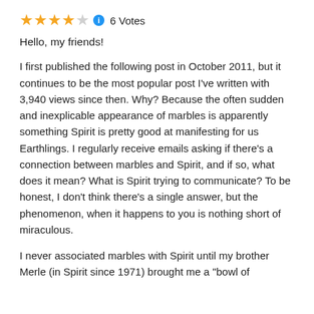[Figure (other): Star rating: 4 out of 5 stars with info icon and '6 Votes' label]
Hello, my friends!
I first published the following post in October 2011, but it continues to be the most popular post I've written with 3,940 views since then. Why? Because the often sudden and inexplicable appearance of marbles is apparently something Spirit is pretty good at manifesting for us Earthlings. I regularly receive emails asking if there's a connection between marbles and Spirit, and if so, what does it mean? What is Spirit trying to communicate? To be honest, I don't think there's a single answer, but the phenomenon, when it happens to you is nothing short of miraculous.
I never associated marbles with Spirit until my brother Merle (in Spirit since 1971) brought me a "bowl of